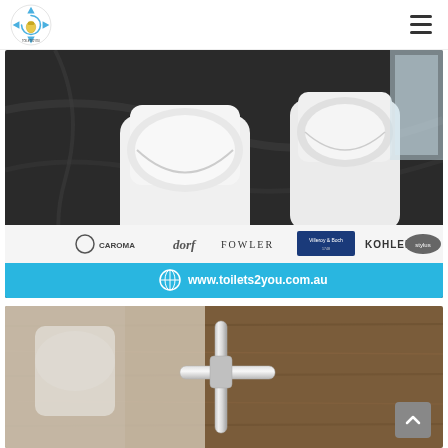toilets2you logo and navigation menu
[Figure (photo): Advertisement image showing two modern white back-to-wall toilets against dark marble wall background, with brand logos (Caroma, dorf, Fowler, Villeroy & Boch, Kohler, Stylus) and a light blue banner showing www.toilets2you.com.au]
[Figure (photo): Close-up photo of a chrome door handle on a wooden door, with a blurred bathroom/toilet background showing white fixtures]